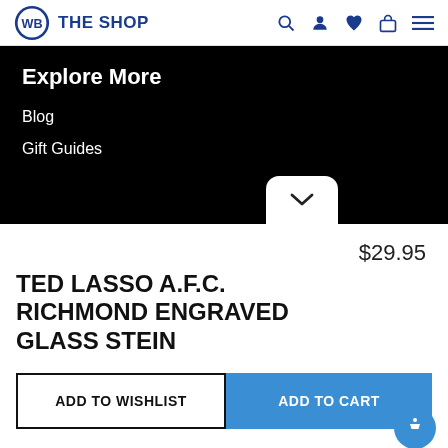[Figure (logo): Warner Bros. The Shop logo with WB shield icon and 'THE SHOP' text in blue, plus navigation icons (search, user, heart, bag, menu)]
Explore More
Blog
Gift Guides
$29.95
TED LASSO A.F.C. RICHMOND ENGRAVED GLASS STEIN
ADD TO WISHLIST
ADD TO CART